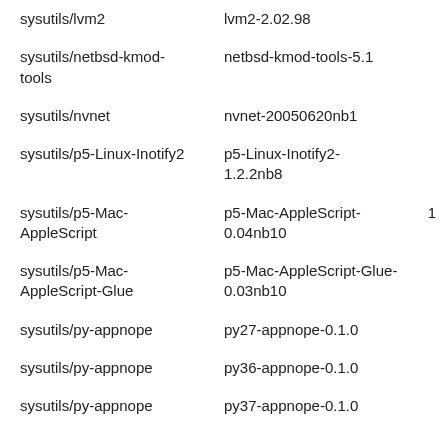| sysutils/lvm2 | lvm2-2.02.98 |  |
| sysutils/netbsd-kmod-tools | netbsd-kmod-tools-5.1 |  |
| sysutils/nvnet | nvnet-20050620nb1 |  |
| sysutils/p5-Linux-Inotify2 | p5-Linux-Inotify2-1.2.2nb8 |  |
| sysutils/p5-Mac-AppleScript | p5-Mac-AppleScript-0.04nb10 | 1 |
| sysutils/p5-Mac-AppleScript-Glue | p5-Mac-AppleScript-Glue-0.03nb10 |  |
| sysutils/py-appnope | py27-appnope-0.1.0 |  |
| sysutils/py-appnope | py36-appnope-0.1.0 |  |
| sysutils/py-appnope | py37-appnope-0.1.0 |  |